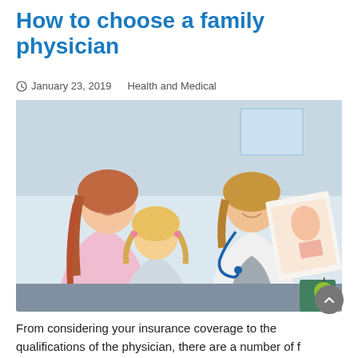How to choose a family physician
January 23, 2019    Health and Medical
[Figure (photo): A female doctor in a white coat with stethoscope showing a medical illustration to a young girl sitting on her mother's lap in a clinical setting. The mother has red hair and is wearing a pink top. The child has blonde hair with pink clips.]
From considering your insurance coverage to the qualifications of the physician, there are a number of f